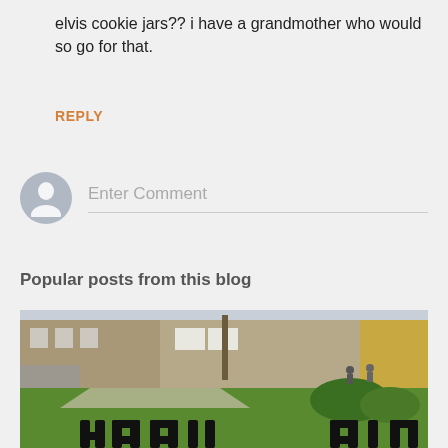elvis cookie jars?? i have a grandmother who would so go for that.
REPLY
Enter Comment
Popular posts from this blog
[Figure (photo): Outdoor photo of a campus building with green lawn in the foreground and decorative black metal fence spelling letters in the bottom portion of the image.]